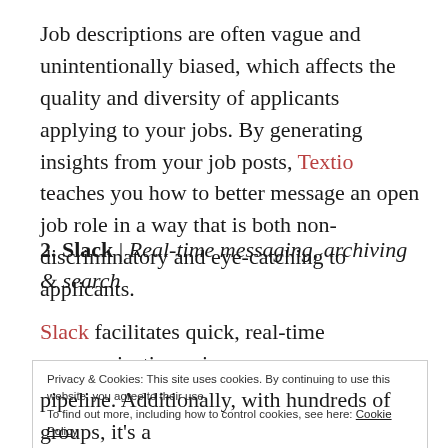Job descriptions are often vague and unintentionally biased, which affects the quality and diversity of applicants applying to your jobs. By generating insights from your job posts, Textio teaches you how to better message an open job role in a way that is both non-discriminatory and eye-catching to applicants.
2. Slack | Real-time messaging, archiving & search
Slack facilitates quick, real-time communication using
Privacy & Cookies: This site uses cookies. By continuing to use this website, you agree to their use. To find out more, including how to control cookies, see here: Cookie Policy
pipeline. Additionally, with hundreds of groups, it's a